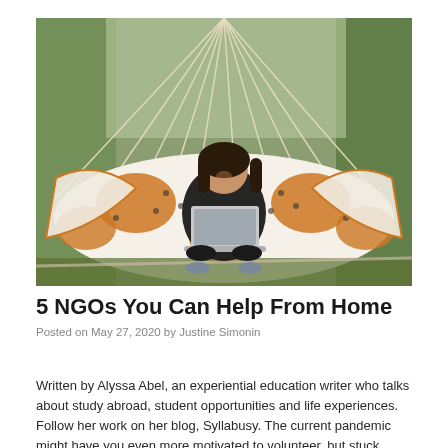[Figure (photo): A young woman with brown hair sitting in a colorful patterned hammock in a wooded outdoor setting, smiling at the camera while working on a laptop computer. The hammock has an orange, white, and black decorative pattern.]
5 NGOs You Can Help From Home
Posted on May 27, 2020 by Justine Simonin
Written by Alyssa Abel, an experiential education writer who talks about study abroad, student opportunities and life experiences. Follow her work on her blog, Syllabusy. The current pandemic might have you even more motivated to volunteer, but stuck